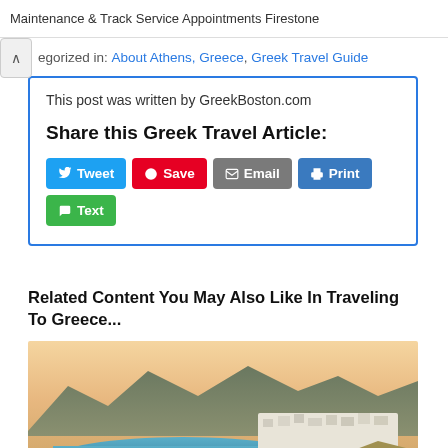Maintenance & Track Service Appointments Firestone
egorized in: About Athens, Greece, Greek Travel Guide
This post was written by GreekBoston.com
Share this Greek Travel Article:
Tweet  Save  Email  Print  Text
Related Content You May Also Like In Traveling To Greece...
[Figure (photo): Aerial/elevated view of a Greek island town with white buildings along a harbor bay, mountains in the background, at dusk/sunset with warm sky tones]